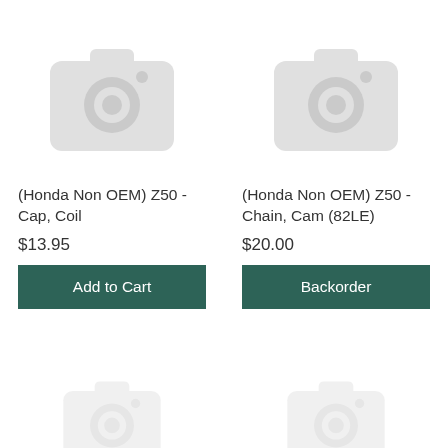[Figure (illustration): Placeholder camera icon for product image]
(Honda Non OEM) Z50 - Cap, Coil
$13.95
Add to Cart
[Figure (illustration): Placeholder camera icon for product image]
(Honda Non OEM) Z50 - Chain, Cam (82LE)
$20.00
Backorder
[Figure (illustration): Placeholder camera icon for product image (partially visible)]
[Figure (illustration): Placeholder camera icon for product image (partially visible)]